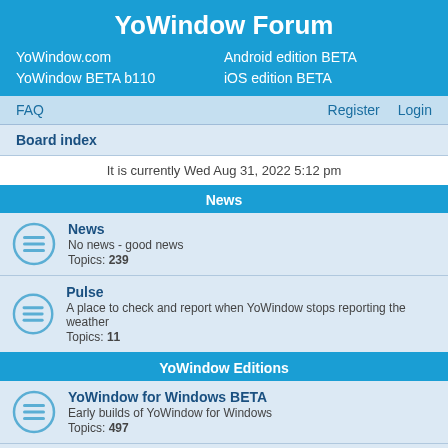YoWindow Forum
YoWindow.com   Android edition BETA
YoWindow BETA b110   iOS edition BETA
FAQ   Register   Login
Board index
It is currently Wed Aug 31, 2022 5:12 pm
News
News
No news - good news
Topics: 239
Pulse
A place to check and report when YoWindow stops reporting the weather
Topics: 11
YoWindow Editions
YoWindow for Windows BETA
Early builds of YoWindow for Windows
Topics: 497
Android
Questions, suggestions, error reports related to Android edition of YoWindow
Topics: 1312